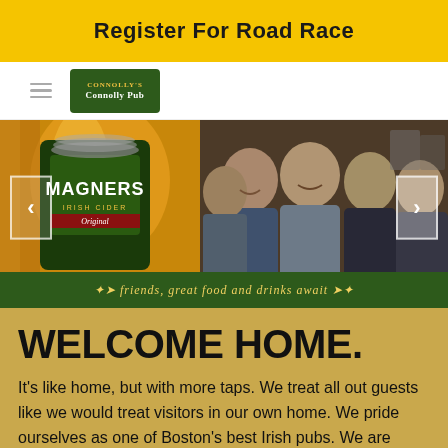Register For Road Race
[Figure (logo): Connolly Pub green logo with gold text]
[Figure (photo): Hero image showing a pint of Magners Irish Cider Original on the left and a group of smiling men in a pub on the right, with carousel navigation arrows. Green banner at bottom reads: friends, great food and drinks await]
WELCOME HOME.
It's like home, but with more taps. We treat all out guests like we would treat visitors in our own home. We pride ourselves as one of Boston's best Irish pubs. We are friendly, genuine and love serving up great food with a smile. We have a full menu that has locals loving it and